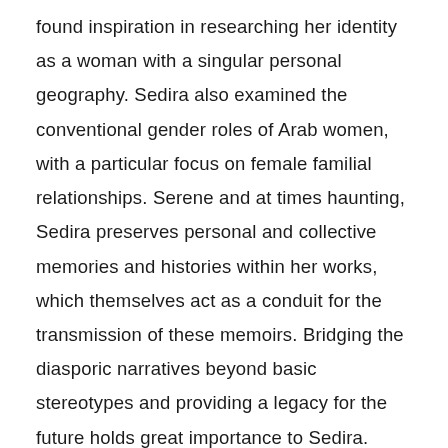found inspiration in researching her identity as a woman with a singular personal geography. Sedira also examined the conventional gender roles of Arab women, with a particular focus on female familial relationships. Serene and at times haunting, Sedira preserves personal and collective memories and histories within her works, which themselves act as a conduit for the transmission of these memoirs. Bridging the diasporic narratives beyond basic stereotypes and providing a legacy for the future holds great importance to Sedira. Blending the personal with the political in powerfully profound works, Sedira questions complicated notions as to who has the right to be the custodian of such a precious, personal archive in an era of post-colonialism.